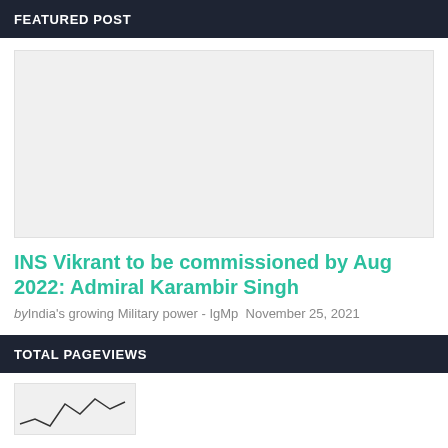FEATURED POST
[Figure (photo): Large featured image placeholder (light gray background)]
INS Vikrant to be commissioned by Aug 2022: Admiral Karambir Singh
by India's growing Military power - IgMp November 25, 2021
TOTAL PAGEVIEWS
[Figure (line-chart): Partial line chart showing pageviews, cut off at bottom of page]